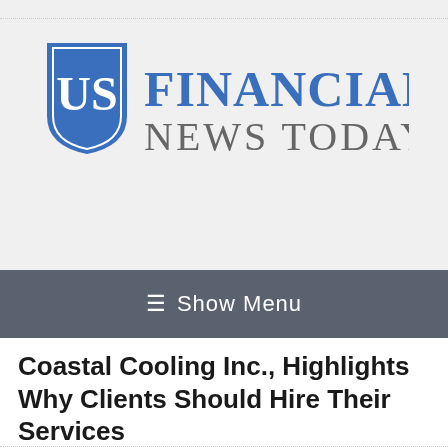[Figure (logo): US Financial News Today logo with blue shield-like icon containing 'US' letters and blue serif text reading FINANCIAL NEWS TODAY]
≡ Show Menu
Coastal Cooling Inc., Highlights Why Clients Should Hire Their Services